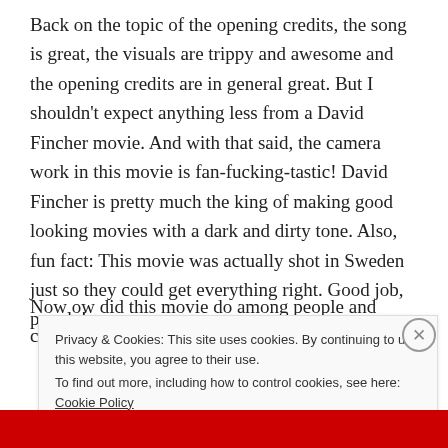Back on the topic of the opening credits, the song is great, the visuals are trippy and awesome and the opening credits are in general great. But I shouldn't expect anything less from a David Fincher movie. And with that said, the camera work in this movie is fan-fucking-tastic! David Fincher is pretty much the king of making good looking movies with a dark and dirty tone. Also, fun fact: This movie was actually shot in Sweden just so they could get everything right. Good job, people!
Now ow did this movie do among people and critics?
Privacy & Cookies: This site uses cookies. By continuing to use this website, you agree to their use.
To find out more, including how to control cookies, see here: Cookie Policy